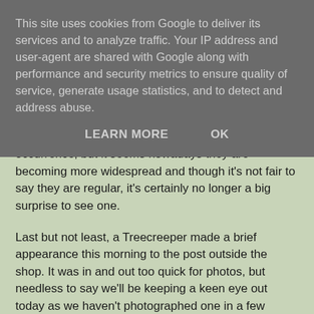This site uses cookies from Google to deliver its services and to analyze traffic. Your IP address and user-agent are shared with Google along with performance and security metrics to ensure quality of service, generate usage statistics, and to detect and address abuse.
LEARN MORE   OK
occurrence, but it seems nowadays they are becoming more widespread and though it's not fair to say they are regular, it's certainly no longer a big surprise to see one.
Last but not least, a Treecreeper made a brief appearance this morning to the post outside the shop. It was in and out too quick for photos, but needless to say we'll be keeping a keen eye out today as we haven't photographed one in a few months!
Joe at 10:36
Share
No comments: